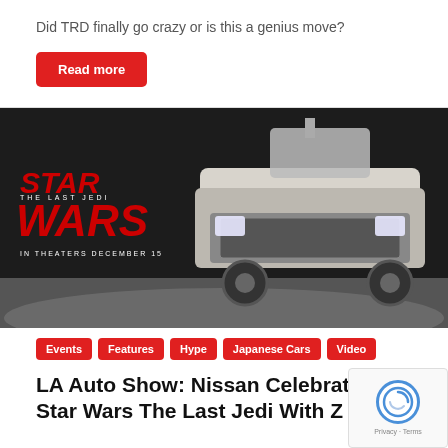Did TRD finally go crazy or is this a genius move?
Read more
[Figure (photo): Star Wars: The Last Jedi promotional image with a Nissan truck modified to look like a Star Wars vehicle, shown against a dark background. Star Wars logo visible on the left.]
Events
Features
Hype
Japanese Cars
Video
LA Auto Show: Nissan Celebrates Star Wars The Last Jedi With Z